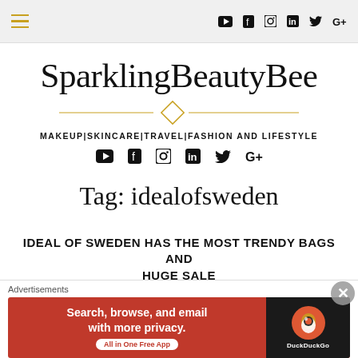SparklingBeautyBee navigation bar with hamburger menu and social icons
SparklingBeautyBee
MAKEUP|SKINCARE|TRAVEL|FASHION AND LIFESTYLE
Tag: idealofsweden
IDEAL OF SWEDEN HAS THE MOST TRENDY BAGS AND HUGE SALE
[Figure (screenshot): DuckDuckGo advertisement banner with text 'Search, browse, and email with more privacy. All in One Free App' and DuckDuckGo logo on dark background]